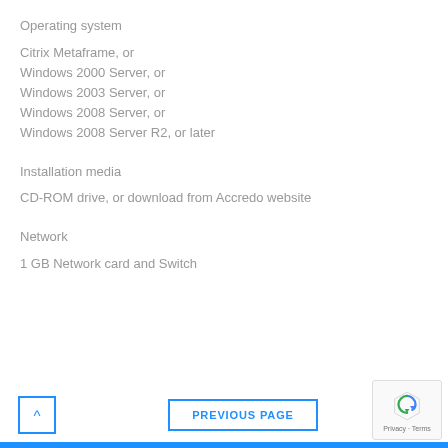Operating system
Citrix Metaframe, or
Windows 2000 Server, or
Windows 2003 Server, or
Windows 2008 Server, or
Windows 2008 Server R2, or later
Installation media
CD-ROM drive, or download from Accredo website
Network
1 GB Network card and Switch